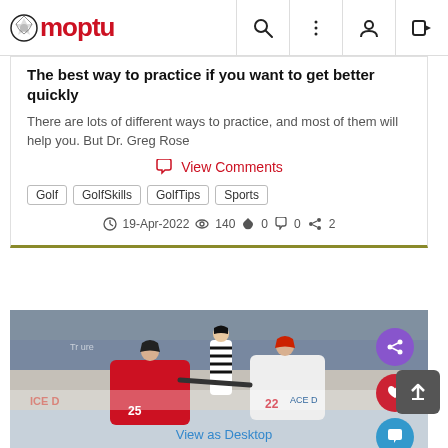Moptu
The best way to practice if you want to get better quickly
There are lots of different ways to practice, and most of them will help you. But Dr. Greg Rose
View Comments
Golf
GolfSkills
GolfTips
Sports
19-Apr-2022  140  0  0  2
[Figure (photo): Ice hockey fight scene with players in red and white jerseys, number 22 and 25 visible, referee in background, share/like/chat action buttons overlaid]
View as Desktop